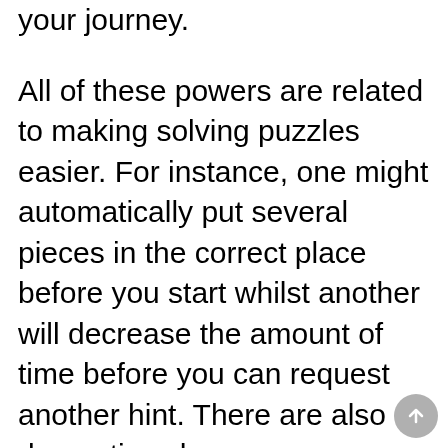your journey. All of these powers are related to making solving puzzles easier. For instance, one might automatically put several pieces in the correct place before you start whilst another will decrease the amount of time before you can request another hint. There are also decorative changes you can make just for fun such as getting new oars, cabins and sails. Chester's Adventure is available now on the App Store and Google Play. It's a free-to-play game with in-app purchases. If you're a fan of puzzle games, here are 25 of the best you can get on Android right now&#;&#;Rhythm Go(Unlimited Money) This week we've had not one, but two titles join the SEGA Forever catalogue, Crazy Taxi and Space Harrier II. Originally launched on iOS in 2010, Space Harrier II makes a welcome comeback and looks as good and classic as ever. It's 6236 and the aptly-named Fantasyland is under attack yet again. Take on the role of Harrier and traverse 12 lands, striking down enemies and dastardly bosses as you go. Crazy Taxi on the other hand launched back in 2012 and remains a popular fa